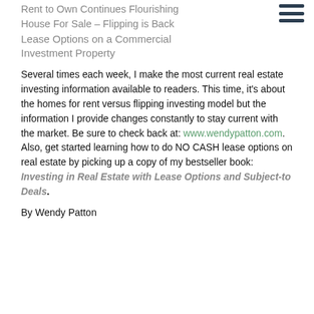Rent to Own Continues Flourishing
House For Sale – Flipping is Back
Lease Options on a Commercial Investment Property
Several times each week, I make the most current real estate investing information available to readers. This time, it's about the homes for rent versus flipping investing model but the information I provide changes constantly to stay current with the market. Be sure to check back at: www.wendypatton.com. Also, get started learning how to do NO CASH lease options on real estate by picking up a copy of my bestseller book: Investing in Real Estate with Lease Options and Subject-to Deals.
By Wendy Patton